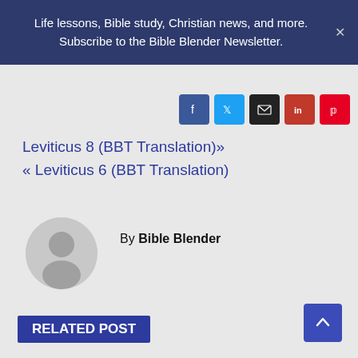Life lessons, Bible study, Christian news, and more. Subscribe to the Bible Blender Newsletter.
[Figure (infographic): Social share buttons: Facebook (blue), Twitter (light blue), Email (black), LinkedIn (red), Pinterest (red)]
Leviticus 8 (BBT Translation)» « Leviticus 6 (BBT Translation)
[Figure (photo): Circular avatar placeholder with grey background showing a generic user silhouette]
By Bible Blender
RELATED POST